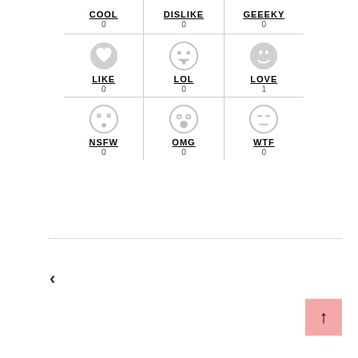[Figure (infographic): 3x3 grid of social reaction buttons with emoji icons and counts. Row 1 (no icons): COOL 0, DISLIKE 0, GEEEKY 0. Row 2 (with icons): LIKE 0, LOL 0, LOVE 1. Row 3 (with icons): NSFW 0, OMG 0, WTF 0. Below is a dotted horizontal line, a left-pointing navigation arrow, and a pink scroll-to-top button.]